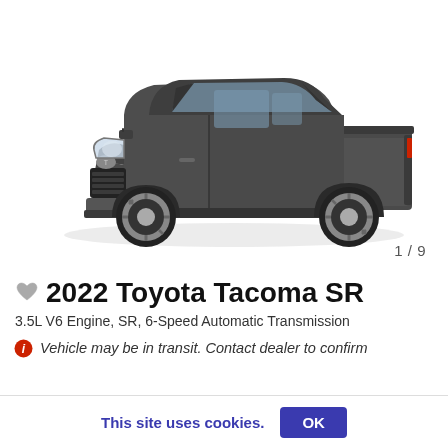[Figure (photo): 2022 Toyota Tacoma SR pickup truck in dark gray, three-quarter front view on white background]
1 / 9
2022 Toyota Tacoma SR
3.5L V6 Engine, SR, 6-Speed Automatic Transmission
Vehicle may be in transit. Contact dealer to confirm
This site uses cookies.
OK